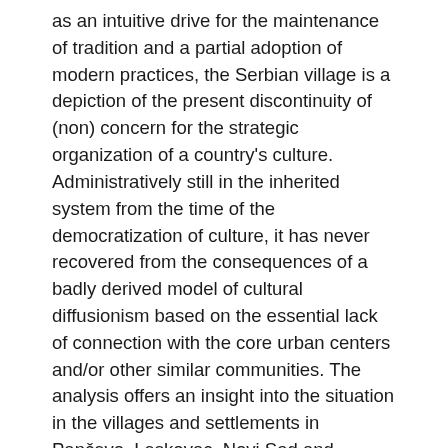as an intuitive drive for the maintenance of tradition and a partial adoption of modern practices, the Serbian village is a depiction of the present discontinuity of (non) concern for the strategic organization of a country's culture. Administratively still in the inherited system from the time of the democratization of culture, it has never recovered from the consequences of a badly derived model of cultural diffusionism based on the essential lack of connection with the core urban centers and/or other similar communities. The analysis offers an insight into the situation in the villages and settlements in Pančevo, Leskovac, Novi Sad and Kraljevo, towns that have been systematized to have rural cultural centers as cultural institutions founded by their local governments. Identified as the central cumulating sites of local heritage, the new cultural production and population gatherings, cultural halls, even in a devastating state of infrastructure and value, but as bearers of strong symbolic capital, establish new forms of socio-cultural centers that in the future should be nurtured and developed with the